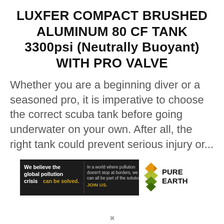LUXFER COMPACT BRUSHED ALUMINUM 80 CF TANK 3300psi (Neutrally Buoyant) WITH PRO VALVE
Whether you are a beginning diver or a seasoned pro, it is imperative to choose the correct scuba tank before going underwater on your own. After all, the right tank could prevent serious injury or...
[Figure (infographic): Pure Earth advertisement banner. Left black section reads: 'We believe the global pollution crisis can be solved.' (can be solved in yellow). Right section reads: 'In a world where pollution doesn't stop at borders, we can all be part of the solution. JOIN US.' (JOIN US in yellow). Logo on right shows diamond/chevron shapes in orange/yellow/green with text PURE EARTH.]